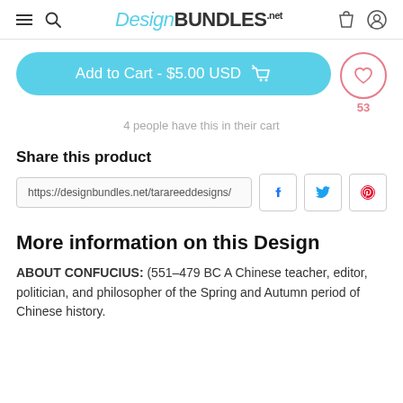Design BUNDLES .net
Add to Cart - $5.00 USD
4 people have this in their cart
Share this product
https://designbundles.net/tarareeddesigns/
More information on this Design
ABOUT CONFUCIUS: (551–479 BC A Chinese teacher, editor, politician, and philosopher of the Spring and Autumn period of Chinese history.